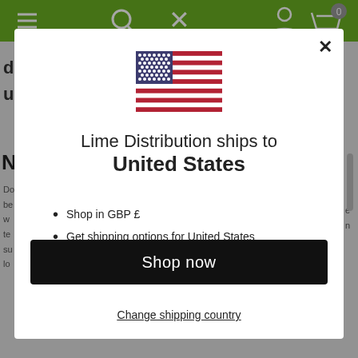[Figure (screenshot): Website popup modal showing a US flag, text about Lime Distribution shipping to United States, bullet points about shopping in GBP and shipping options, a Shop now button, and a Change shipping country link. Background shows a green navigation bar and grey page content.]
Lime Distribution ships to
United States
Shop in GBP £
Get shipping options for United States
Shop now
Change shipping country